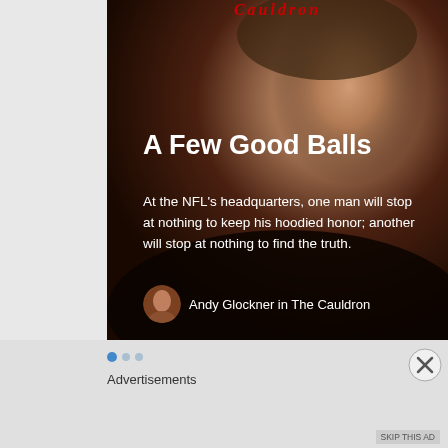[Figure (photo): Dark moody portrait photo of a stern-looking man in military-style jacket overlaid with article title and subtitle text on dark background]
A Few Good Balls
At the NFL's headquarters, one man will stop at nothing to keep his hoodied honor; another will stop at nothing to find the truth.
Andy Glockner in The Cauldron
Advertisements